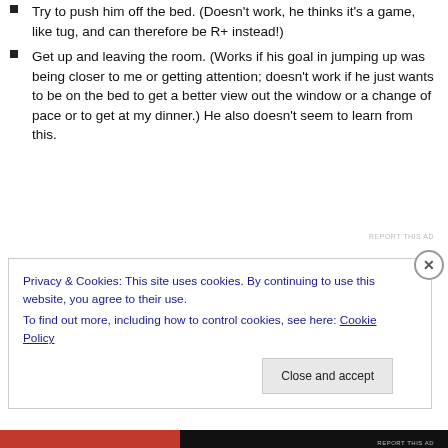Try to push him off the bed. (Doesn't work, he thinks it's a game, like tug, and can therefore be R+ instead!)
Get up and leaving the room. (Works if his goal in jumping up was being closer to me or getting attention; doesn't work if he just wants to be on the bed to get a better view out the window or a change of pace or to get at my dinner.) He also doesn't seem to learn from this.
Privacy & Cookies: This site uses cookies. By continuing to use this website, you agree to their use.
To find out more, including how to control cookies, see here: Cookie Policy
Close and accept